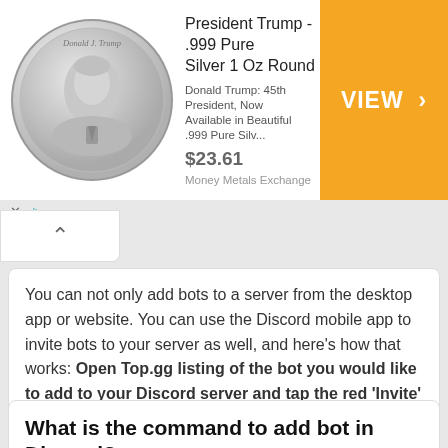[Figure (infographic): Advertisement banner for President Trump .999 Pure Silver 1 Oz Round. Shows a silver coin with Trump profile on left, product title and description in center, price $23.61, and orange VIEW > button on right. Source: Money Metals Exchange.]
You can not only add bots to a server from the desktop app or website. You can use the Discord mobile app to invite bots to your server as well, and here's how that works: Open Top.gg listing of the bot you would like to add to your Discord server and tap the red 'Invite' button.
What is the command to add bot in Discord?